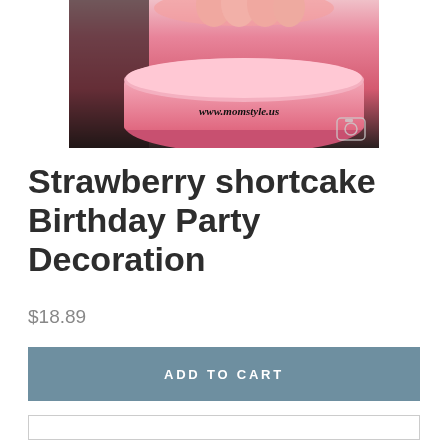[Figure (photo): Photo of a pink strawberry shortcake birthday party decoration item with text 'www.momstyle.us' overlaid on the image]
Strawberry shortcake Birthday Party Decoration
$18.89
ADD TO CART
Strawberry Shortcake Birthday Party Centerpiece